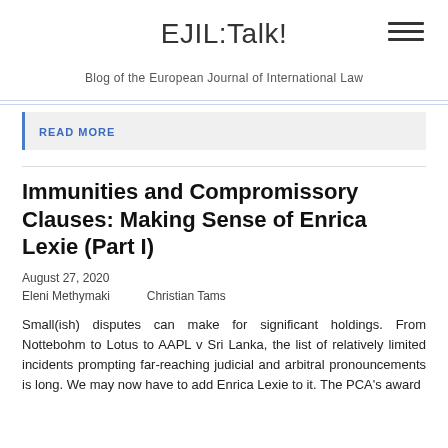EJIL:Talk!
Blog of the European Journal of International Law
READ MORE
Immunities and Compromissory Clauses: Making Sense of Enrica Lexie (Part I)
August 27, 2020
Eleni Methymaki    Christian Tams
Small(ish) disputes can make for significant holdings. From Nottebohm to Lotus to AAPL v Sri Lanka, the list of relatively limited incidents prompting far-reaching judicial and arbitral pronouncements is long. We may now have to add Enrica Lexie to it. The PCA's award